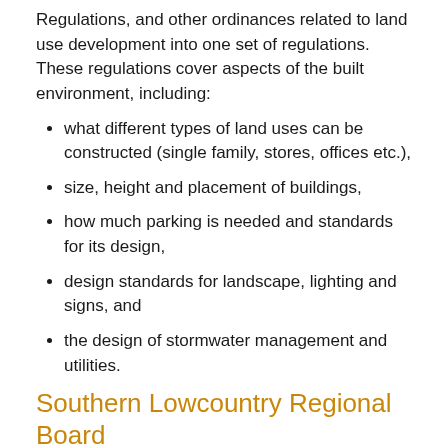Regulations, and other ordinances related to land use development into one set of regulations. These regulations cover aspects of the built environment, including:
what different types of land uses can be constructed (single family, stores, offices etc.),
size, height and placement of buildings,
how much parking is needed and standards for its design,
design standards for landscape, lighting and signs, and
the design of stormwater management and utilities.
Southern Lowcountry Regional Board
Elected officials from City of Hardeeville, Towns of Bluffton, Ridgeland, and Hilton Head Island, Beaufort County, and Jasper County re-esta[Select Language ▾] Lowcountry Regional Board (SoLoCo) on August 29,